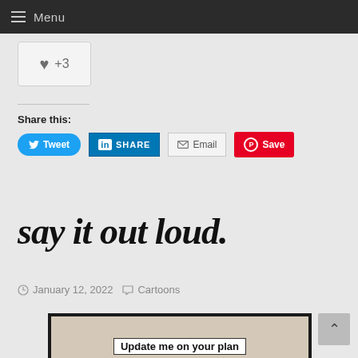☰ Menu
[Figure (other): Like/heart button showing +3 likes]
Share this:
[Figure (other): Social share buttons: Tweet, SHARE (LinkedIn), Email, Save (Pinterest)]
say it out loud.
January 12, 2022   Cartoons
[Figure (photo): Cartoon image preview showing text: Update me on your plan]